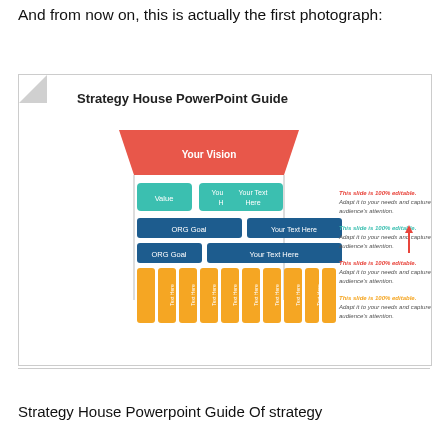And from now on, this is actually the first photograph:
[Figure (screenshot): Screenshot of a Strategy House PowerPoint Guide slide with a house diagram showing 'Your Vision' at the top (red triangle/roof), teal/green boxes for 'Value', 'Your Text Here' labels, blue bars for 'ORG Goal' and 'Your Text Here', orange vertical bars labeled 'Text Here' at the bottom. On the right side, annotated callouts in red and teal italic text reading 'This slide is 100% editable. Adapt it to your needs and capture your audience's attention.' A large red arrow and vertical pink text reading 'Back to Top' overlay the right side.]
Strategy House Powerpoint Guide Of strategy